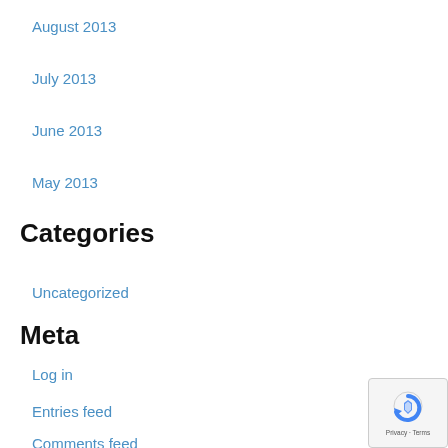August 2013
July 2013
June 2013
May 2013
Categories
Uncategorized
Meta
Log in
Entries feed
Comments feed